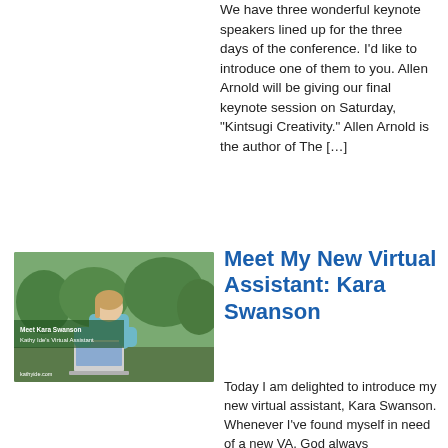We have three wonderful keynote speakers lined up for the three days of the conference. I'd like to introduce one of them to you. Allen Arnold will be giving our final keynote session on Saturday, "Kintsugi Creativity." Allen Arnold is the author of The […]
[Figure (photo): Photo of a woman sitting outdoors with a laptop, with overlay text reading 'Meet Kara Swanson, Kathy Ide's Virtual Assistant' and watermark 'kathyide.com']
Meet My New Virtual Assistant: Kara Swanson
Today I am delighted to introduce my new virtual assistant, Kara Swanson. Whenever I've found myself in need of a new VA, God always